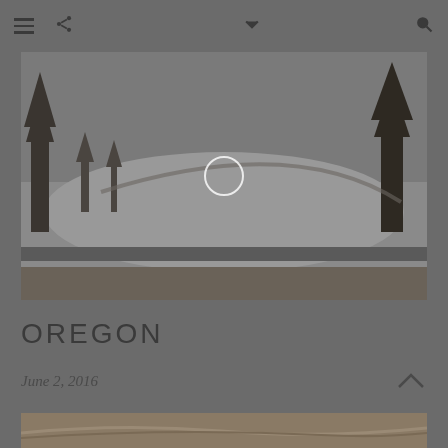[Figure (photo): Snowy ski slope with trees, a winding path visible, overcast day]
OREGON
June 2, 2016
[Figure (photo): Sandy or dusty landscape with gentle hills, muted brown tones]